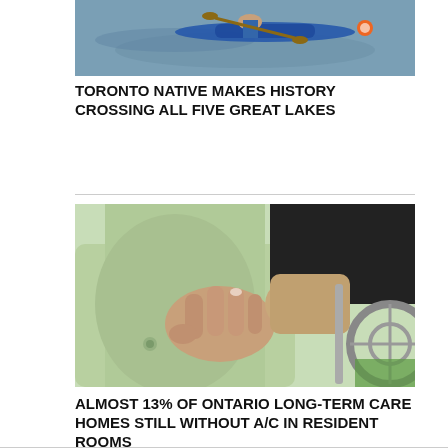[Figure (photo): A person in a watercraft or swimming in a large body of water, partially visible at top of page]
TORONTO NATIVE MAKES HISTORY CROSSING ALL FIVE GREAT LAKES
[Figure (photo): Close-up of an elderly person in a light green jacket seated in a wheelchair, with another person's hand resting on theirs]
ALMOST 13% OF ONTARIO LONG-TERM CARE HOMES STILL WITHOUT A/C IN RESIDENT ROOMS